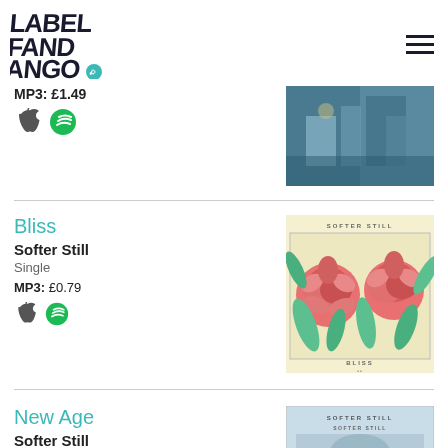Label Fandango
MP3: £1.49
[Figure (photo): Concert/venue photo thumbnail on the right side]
Bliss
Softer Still
Single
MP3: £0.79
[Figure (illustration): Album cover art for Bliss by Softer Still - pink/red peony flowers on cream background with SOFTER STILL and BLISS text]
New Age
Softer Still
[Figure (photo): Partial album cover for New Age by Softer Still - blue tinted image]